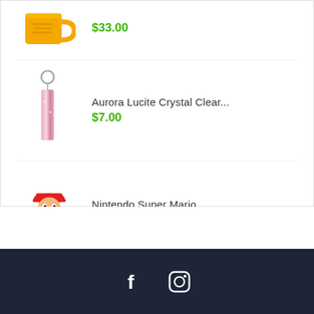[Figure (illustration): Yellow mug product image (partial, top of page)]
$33.00
[Figure (illustration): Aurora Lucite Crystal Clear keychain product image]
Aurora Lucite Crystal Clear...
$7.00
[Figure (illustration): Nintendo Super Mario character figure product image]
Nintendo Super Mario...
$25.00
[Figure (other): Footer with Facebook and Instagram social media icons on dark navy background]